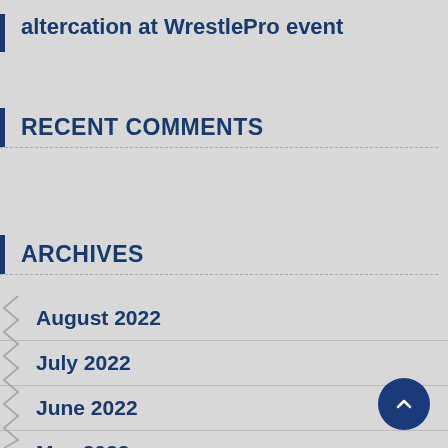altercation at WrestlePro event
RECENT COMMENTS
ARCHIVES
August 2022
July 2022
June 2022
May 2022
April 2022